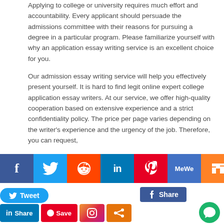Applying to college or university requires much effort and accountability. Every applicant should persuade the admissions committee with their reasons for pursuing a degree in a particular program. Please familiarize yourself with why an application essay writing service is an excellent choice for you.
Our admission essay writing service will help you effectively present yourself. It is hard to find legit online expert college application essay writers. At our service, we offer high-quality cooperation based on extensive experience and a strict confidentiality policy. The price per page varies depending on the writer's experience and the urgency of the job. Therefore, you can request, essay," and find the best
[Figure (infographic): Social media share buttons bar: Facebook (blue), Twitter (light blue), Reddit (orange-red), LinkedIn (dark blue), Pinterest (red), MeWe (blue), Mix (orange), WhatsApp (green). Below: Facebook Share button, Tweet button, LinkedIn Share button, Pinterest Save button, Instagram button, generic share button. Chat bubble icon bottom right.]